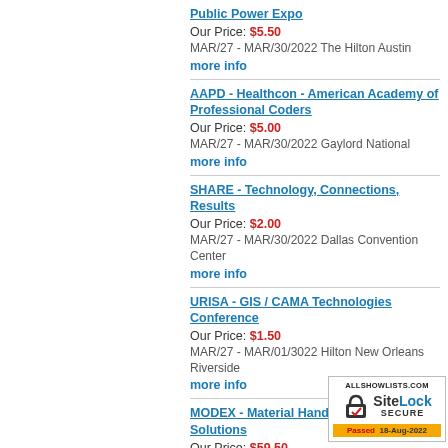Public Power Expo
Our Price: $5.50
MAR/27 - MAR/30/2022 The Hilton Austin
more info
AAPD - Healthcon - American Academy of Professional Coders
Our Price: $5.00
MAR/27 - MAR/30/2022 Gaylord National
more info
SHARE - Technology, Connections, Results
Our Price: $2.00
MAR/27 - MAR/30/2022 Dallas Convention Center
more info
URISA - GIS / CAMA Technologies Conference
Our Price: $1.50
MAR/27 - MAR/01/3022 Hilton New Orleans Riverside
more info
MODEX - Material Handling & Logistics Solutions
Our Price: $59.50
MAR/28 - MAR/31/2022 Georgia World Congress Center, Atlanta
more info
[Figure (logo): SiteLock Secure badge from allshowlists.com. Passed 18-Aug-2022.]